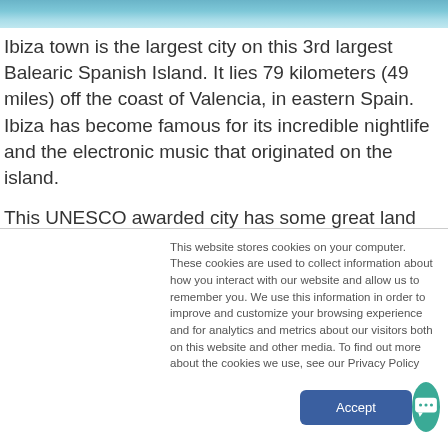[Figure (photo): Aerial or ocean-level view of blue-green water, likely near Ibiza coast]
Ibiza town is the largest city on this 3rd largest Balearic Spanish Island. It lies 79 kilometers (49 miles) off the coast of Valencia, in eastern Spain. Ibiza has become famous for its incredible nightlife and the electronic music that originated on the island.
This UNESCO awarded city has some great land adventure options including resort golf, wine tasting, exploring the Dalt Villa and mountain biking to name a few. We try to stay late
This website stores cookies on your computer. These cookies are used to collect information about how you interact with our website and allow us to remember you. We use this information in order to improve and customize your browsing experience and for analytics and metrics about our visitors both on this website and other media. To find out more about the cookies we use, see our Privacy Policy